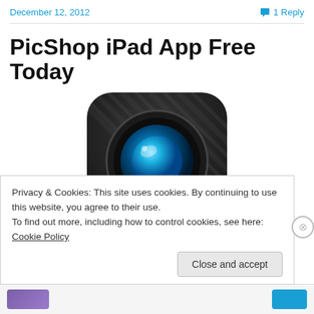December 12, 2012   💬 1 Reply
PicShop iPad App Free Today
[Figure (illustration): PicShop app icon showing a camera lens on a dark background with rounded corners]
Privacy & Cookies: This site uses cookies. By continuing to use this website, you agree to their use.
To find out more, including how to control cookies, see here: Cookie Policy
Close and accept